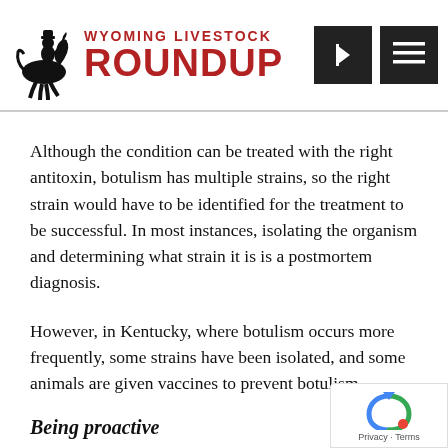Wyoming Livestock Roundup
Although the condition can be treated with the right antitoxin, botulism has multiple strains, so the right strain would have to be identified for the treatment to be successful. In most instances, isolating the organism and determining what strain it is is a postmortem diagnosis.
However, in Kentucky, where botulism occurs more frequently, some strains have been isolated, and some animals are given vaccines to prevent botulism.
Being proactive